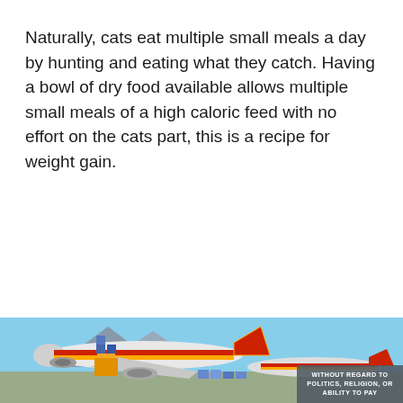Naturally, cats eat multiple small meals a day by hunting and eating what they catch. Having a bowl of dry food available allows multiple small meals of a high caloric feed with no effort on the cats part, this is a recipe for weight gain.
[Figure (photo): An advertisement banner showing cargo aircraft being loaded with boxes on a tarmac, with a red and yellow striped livery. An overlay reads 'WITHOUT REGARD TO' with smaller text below.]